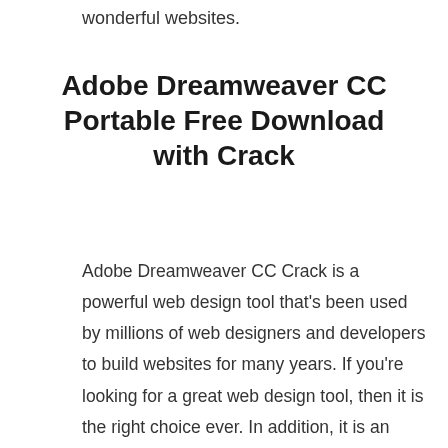wonderful websites.
Adobe Dreamweaver CC Portable Free Download with Crack
Adobe Dreamweaver CC Crack is a powerful web design tool that’s been used by millions of web designers and developers to build websites for many years. If you’re looking for a great web design tool, then it is the right choice ever. In addition, it is an ideal web design software that helps you design a website with a range of advanced features that enable you to edit your website as per your requirement. It is like a WYSIWYG Editor